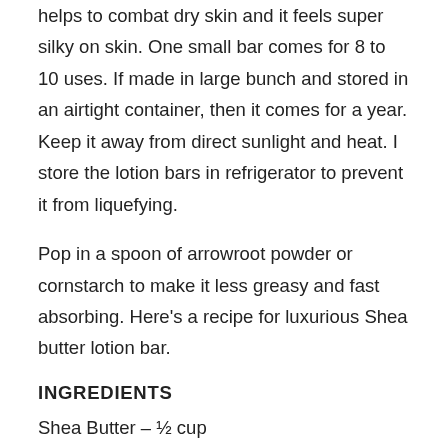helps to combat dry skin and it feels super silky on skin. One small bar comes for 8 to 10 uses. If made in large bunch and stored in an airtight container, then it comes for a year. Keep it away from direct sunlight and heat. I store the lotion bars in refrigerator to prevent it from liquefying.
Pop in a spoon of arrowroot powder or cornstarch to make it less greasy and fast absorbing. Here's a recipe for luxurious Shea butter lotion bar.
INGREDIENTS
Shea Butter – ½ cup
Kokum Butter – ½ cup